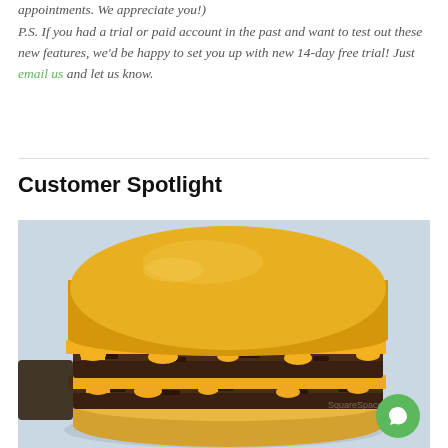appointments. We appreciate you!)
P.S. If you had a trial or paid account in the past and want to test out these new features, we'd be happy to set you up with new 14-day free trial! Just email us and let us know.
Customer Spotlight
[Figure (photo): Close-up photo of a double cheeseburger with melted orange cheese dripping over two beef patties on a toasted bun, set against a light blue-grey background.]